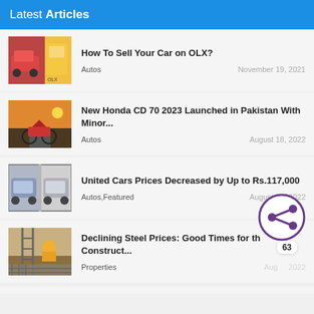Latest Articles
How To Sell Your Car on OLX? | Autos | November 19, 2021
New Honda CD 70 2023 Launched in Pakistan With Minor... | Autos | August 18, 2022
United Cars Prices Decreased by Up to Rs.117,000 | Autos,Featured | August 18, 2022
Declining Steel Prices: Good Times for th Construct... | Properties | August 2022
[Figure (infographic): Share button overlay with count 63]